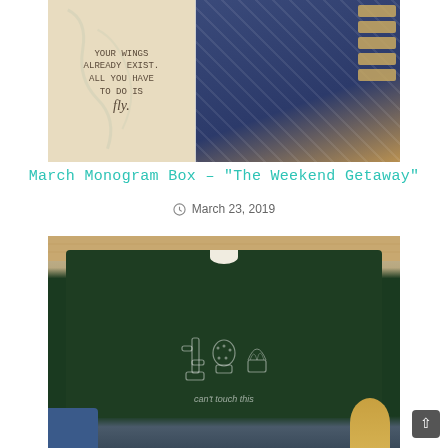[Figure (photo): Top image showing a wooden sign with inspirational quote 'Your wings already exist. All you have to do is fly.' alongside a navy blue patterned fabric/scarf and kraft paper tags on a wooden surface.]
March Monogram Box – "The Weekend Getaway"
March 23, 2019
[Figure (photo): Bottom image showing a dark green t-shirt with cactus graphic design and text 'can't touch this' laid on a wooden surface with jeans and a person's hair visible at the bottom.]